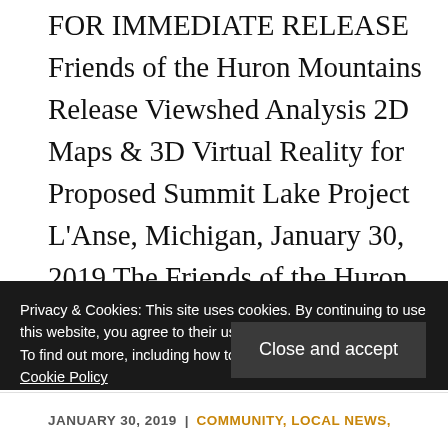FOR IMMEDIATE RELEASE Friends of the Huron Mountains Release Viewshed Analysis 2D Maps & 3D Virtual Reality for Proposed Summit Lake Project L'Anse, Michigan, January 30, 2019 The Friends of the Huron Mountains, a group in opposition to the proposed Summit Lake industrial wind farm in the Huron Mountains, announced today that a sophisticated project ...
Privacy & Cookies: This site uses cookies. By continuing to use this website, you agree to their use. To find out more, including how to control cookies, see here: Cookie Policy
Close and accept
JANUARY 30, 2019 | COMMUNITY, LOCAL NEWS,